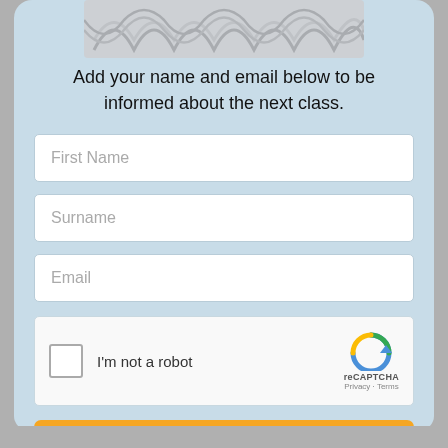[Figure (illustration): Decorative Celtic knot or woven pattern banner at the top of the form card]
Add your name and email below to be informed about the next class.
[Figure (screenshot): Web form with fields: First Name, Surname, Email, reCAPTCHA checkbox saying 'I'm not a robot', and a Send button]